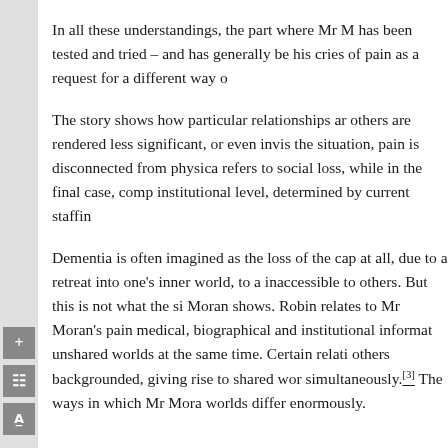In all these understandings, the part where Mr M has been tested and tried – and has generally be his cries of pain as a request for a different way o
The story shows how particular relationships ar others are rendered less significant, or even invis the situation, pain is disconnected from physica refers to social loss, while in the final case, comp institutional level, determined by current staffin
Dementia is often imagined as the loss of the cap at all, due to a retreat into one's inner world, to a inaccessible to others. But this is not what the si Moran shows. Robin relates to Mr Moran's pain medical, biographical and institutional informat unshared worlds at the same time. Certain relati others backgrounded, giving rise to shared wor simultaneously.[3] The ways in which Mr Mora worlds differ enormously.